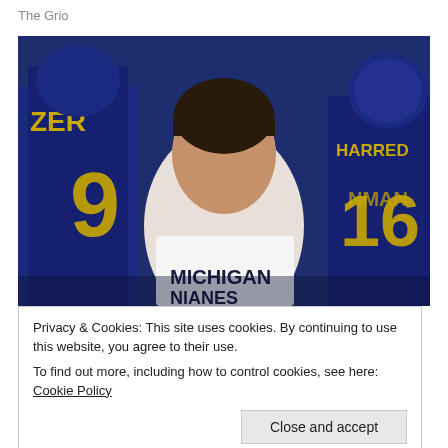The Grio
[Figure (photo): A person wearing a white Michigan t-shirt stands among University of Michigan football players in navy and gold uniforms with numbers 9, 15, 16 visible and names ZER, NMAN, HARRED on jerseys.]
Privacy & Cookies: This site uses cookies. By continuing to use this website, you agree to their use.
To find out more, including how to control cookies, see here: Cookie Policy
Close and accept